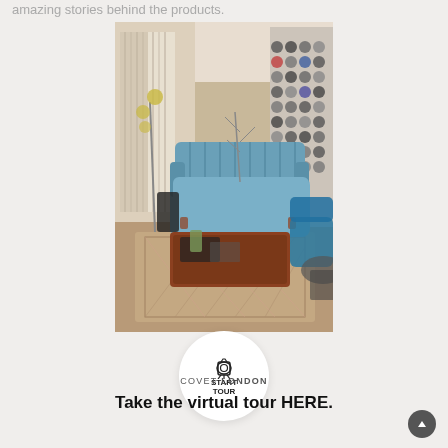amazing stories behind the products.
[Figure (photo): Interior showroom photo of a luxury living space with a blue velvet sofa, wooden coffee table with books and a bottle, patterned rug, floor lamps, and a decorative wall display. A circular white button overlay reads START TOUR with a 360-camera icon.]
COVET LONDON
Take the virtual tour HERE.